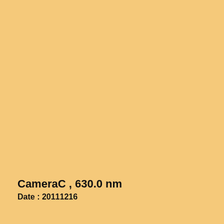CameraC , 630.0 nm
Date : 20111216
Click figure to enlarge
Came...
Came...
589.3n...
Came...
Came...
Came...
Came...
Came...
Came...
TILTI...
TILTI...
TILTI...
Fabry-...
FPI01...
FPI01...
FPI02...
Airglo...
Airglo...
Airglo...
Airglo...
Airglo...
Airglo...